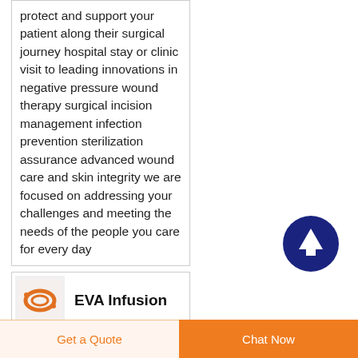protect and support your patient along their surgical journey hospital stay or clinic visit to leading innovations in negative pressure wound therapy surgical incision management infection prevention sterilization assurance advanced wound care and skin integrity we are focused on addressing your challenges and meeting the needs of the people you care for every day
[Figure (illustration): Dark navy blue circle with a white upward arrow inside, functioning as a scroll-to-top button]
[Figure (photo): Small product thumbnail image showing EVA Infusion product with orange/red tubing design on light background]
EVA Infusion
Get a Quote    Chat Now